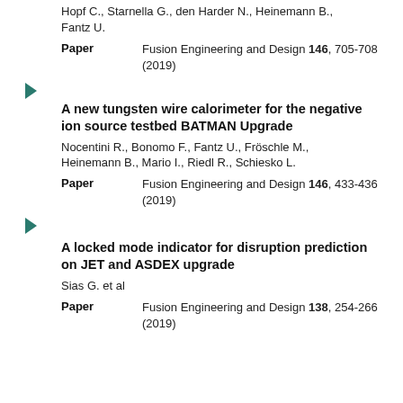Hopf C., Starnella G., den Harder N., Heinemann B., Fantz U.
Paper	Fusion Engineering and Design 146, 705-708 (2019)
A new tungsten wire calorimeter for the negative ion source testbed BATMAN Upgrade
Nocentini R., Bonomo F., Fantz U., Fröschle M., Heinemann B., Mario I., Riedl R., Schiesko L.
Paper	Fusion Engineering and Design 146, 433-436 (2019)
A locked mode indicator for disruption prediction on JET and ASDEX upgrade
Sias G. et al
Paper	Fusion Engineering and Design 138, 254-266 (2019)